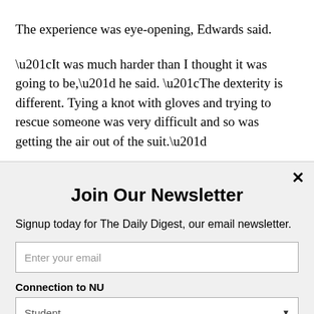The experience was eye-opening, Edwards said.
“It was much harder than I thought it was going to be,” he said. “The dexterity is different. Tying a knot with gloves and trying to rescue someone was very difficult and so was getting the air out of the suit.”
Still, participants tried to have fun during the exercise,
Join Our Newsletter
Signup today for The Daily Digest, our email newsletter.
Enter your email
Connection to NU
Student